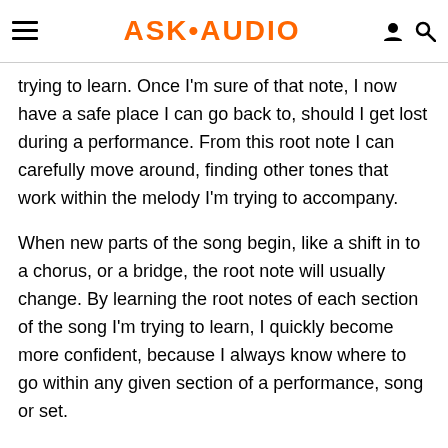ASK•AUDIO
trying to learn. Once I'm sure of that note, I now have a safe place I can go back to, should I get lost during a performance. From this root note I can carefully move around, finding other tones that work within the melody I'm trying to accompany.
When new parts of the song begin, like a shift in to a chorus, or a bridge, the root note will usually change. By learning the root notes of each section of the song I'm trying to learn, I quickly become more confident, because I always know where to go within any given section of a performance, song or set.